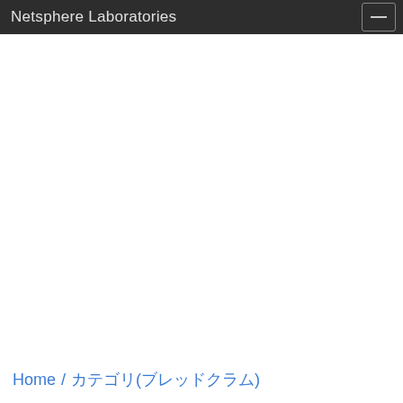Netsphere Laboratories
Home / カテゴリ(ブレッドクラム)